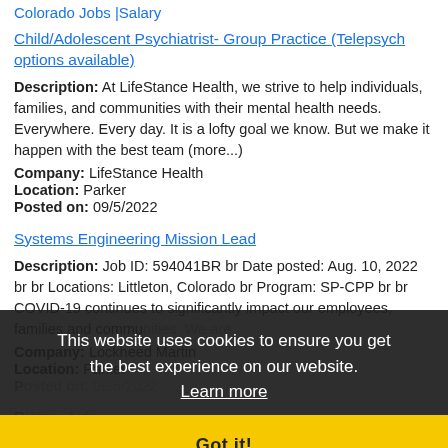Colorado Jobs |Salary
Child/Adolescent Psychiatrist- Group Practice (Telepsych options available)
Description: At LifeStance Health, we strive to help individuals, families, and communities with their mental health needs. Everywhere. Every day. It is a lofty goal we know. But we make it happen with the best team (more...)
Company: LifeStance Health
Location: Parker
Posted on: 09/5/2022
Systems Engineering Mission Lead
Description: Job ID: 594041BR br Date posted: Aug. 10, 2022 br br Locations: Littleton, Colorado br Program: SP-CPP br br COVID-19 continues to significantly impact our employees, families and communities. We are...
Company: Lockheed Martin
Location: Parker
Posted on: 09/5/2022
Dietary Aide
Description: 16.00 - 17.00: 1,000 Sign on BonusCome and grow with us We are affiliated with Life Care Centers of America, which is
This website uses cookies to ensure you get the best experience on our website. Learn more
Got it!